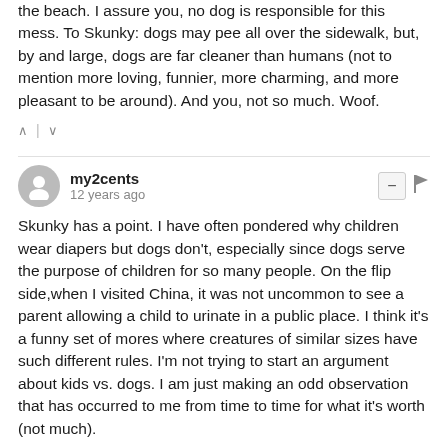the beach. I assure you, no dog is responsible for this mess. To Skunky: dogs may pee all over the sidewalk, but, by and large, dogs are far cleaner than humans (not to mention more loving, funnier, more charming, and more pleasant to be around). And you, not so much. Woof.
my2cents — 12 years ago
Skunky has a point. I have often pondered why children wear diapers but dogs don't, especially since dogs serve the purpose of children for so many people. On the flip side,when I visited China, it was not uncommon to see a parent allowing a child to urinate in a public place. I think it's a funny set of mores where creatures of similar sizes have such different rules. I'm not trying to start an argument about kids vs. dogs. I am just making an odd observation that has occurred to me from time to time for what it's worth (not much).
nelson — 12 years ago